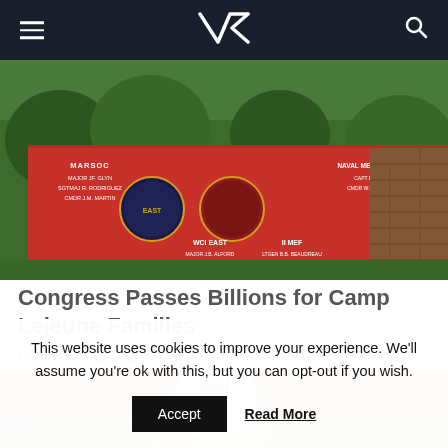VR (logo) navigation bar with hamburger menu and search icon
[Figure (photo): Photo of a red military honor board sign at Camp Lejeune listing names of military personnel by unit (MARSOC, WCI EAST, II MEF, Naval Medical Center, etc.) with a brick building and trees visible in background]
Congress Passes Billions for Camp Lejeune Families
UnitedClaimsBureau
[Figure (photo): Close-up photo of a hand holding a white LED light bulb with a silver metallic base, against a blurred background of a table or counter]
This website uses cookies to improve your experience. We'll assume you're ok with this, but you can opt-out if you wish.
Accept   Read More